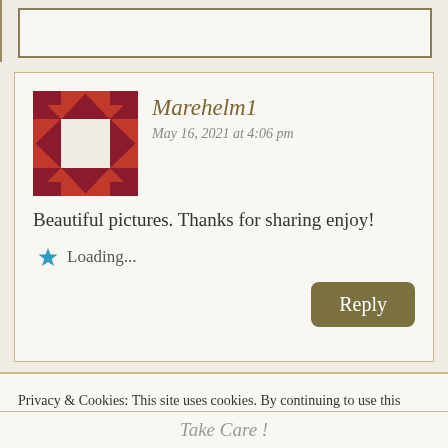[Figure (illustration): Partial top element - text input box with brown border]
Marehelm1
May 16, 2021 at 4:06 pm

Beautiful pictures. Thanks for sharing enjoy!

★ Loading...

Reply
Privacy & Cookies: This site uses cookies. By continuing to use this website, you agree to their use.
To find out more, including how to control cookies, see here:
Cookie Policy

Close and accept
Take Care !